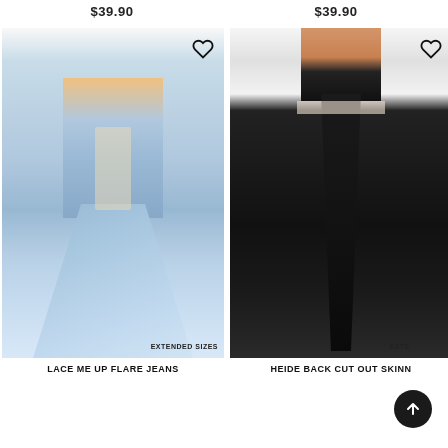$39.90
$39.90
[Figure (photo): Back view of model wearing light blue lace-up flare jeans with denim jacket, showing extended sizes badge]
[Figure (photo): Back view of model wearing black cut-out skinny jeans with heels, showing extended sizes badge (partially obscured by scroll button)]
LACE ME UP FLARE JEANS
HEIDE BACK CUT OUT SKINNY